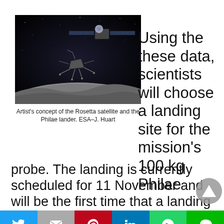[Figure (photo): Artist's concept of the Rosetta satellite and the Philae lander approaching a comet surface. ESA–J. Huart]
Artist's concept of the Rosetta satellite and the Philae lander. ESA–J. Huart
Using the these data, scientists will choose a landing site for the mission's 100 kg Philae probe. The landing is currently scheduled for 11 November and will be the first time that a landing